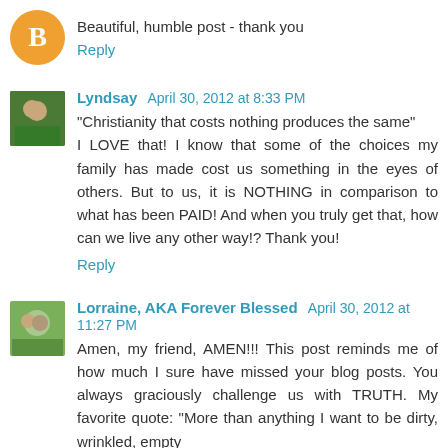Beautiful, humble post - thank you
Reply
Lyndsay  April 30, 2012 at 8:33 PM
"Christianity that costs nothing produces the same" I LOVE that! I know that some of the choices my family has made cost us something in the eyes of others. But to us, it is NOTHING in comparison to what has been PAID! And when you truly get that, how can we live any other way!? Thank you!
Reply
Lorraine, AKA Forever Blessed  April 30, 2012 at 11:27 PM
Amen, my friend, AMEN!!! This post reminds me of how much I sure have missed your blog posts. You always graciously challenge us with TRUTH. My favorite quote: "More than anything I want to be dirty, wrinkled, empty